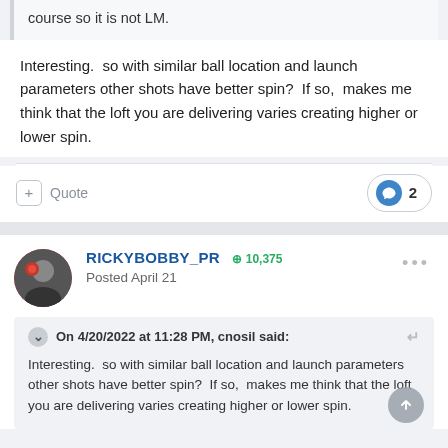course so it is not LM.
Interesting.  so with similar ball location and launch parameters other shots have better spin?  If so,  makes me think that the loft you are delivering varies creating higher or lower spin.
Quote  2
RICKYBOBBY_PR  + 10,375
Posted April 21
On 4/20/2022 at 11:28 PM, cnosil said:
Interesting.  so with similar ball location and launch parameters other shots have better spin?  If so,  makes me think that the loft you are delivering varies creating higher or lower spin.